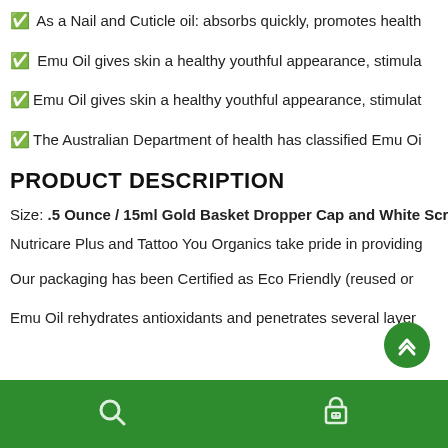✅ As a Nail and Cuticle oil: absorbs quickly, promotes health
✅ Emu Oil gives skin a healthy youthful appearance, stimula
✅Emu Oil gives skin a healthy youthful appearance, stimulat
✅The Australian Department of health has classified Emu Oi
PRODUCT DESCRIPTION
Size: .5 Ounce / 15ml Gold Basket Dropper Cap and White Screw-
Nutricare Plus and Tattoo You Organics take pride in providing
Our packaging has been Certified as Eco Friendly (reused or
Emu Oil rehydrates antioxidants and penetrates several layer